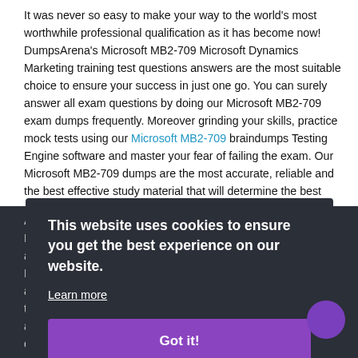It was never so easy to make your way to the world's most worthwhile professional qualification as it has become now! DumpsArena's Microsoft MB2-709 Microsoft Dynamics Marketing training test questions answers are the most suitable choice to ensure your success in just one go. You can surely answer all exam questions by doing our Microsoft MB2-709 exam dumps frequently. Moreover grinding your skills, practice mock tests using our Microsoft MB2-709 braindumps Testing Engine software and master your fear of failing the exam. Our Microsoft MB2-709 dumps are the most accurate, reliable and the best effective study material that will determine the best option for your time and money.
[Partially obscured text behind cookie overlay]
[Figure (screenshot): Cookie consent overlay with dark background, message 'This website uses cookies to ensure you get the best experience on our website.', a 'Learn more' underlined link, and a purple 'Got it!' button.]
exam paper.